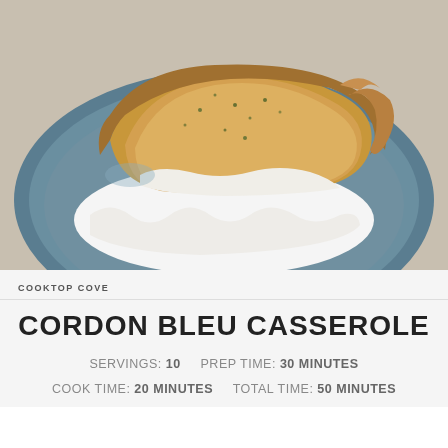[Figure (photo): Photo of Cordon Bleu Casserole slice on a blue plate with creamy white sauce and golden brown pastry top, garnished with herbs]
COOKTOP COVE
CORDON BLEU CASSEROLE
SERVINGS: 10   PREP TIME: 30 MINUTES
COOK TIME: 20 MINUTES   TOTAL TIME: 50 MINUTES